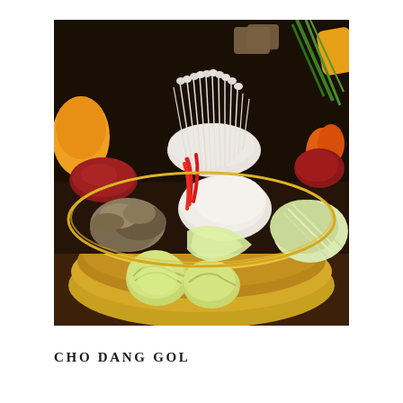[Figure (photo): A large brass/gold bowl filled with Korean Cho Dang Gol hot pot ingredients: enoki mushrooms, cabbage, shredded napa cabbage, red bell pepper strips, raw meat (beef), oyster mushrooms, green onions, carrots, pumpkin, and other vegetables arranged in the bowl on a wooden table.]
CHO DANG GOL